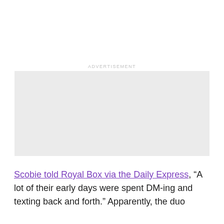[Figure (other): Advertisement placeholder box with light gray background]
Scobie told Royal Box via the Daily Express, “A lot of their early days were spent DM-ing and texting back and forth.” Apparently, the duo